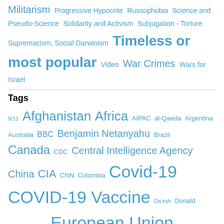Militarism Progressive Hypocrite Russophobia Science and Pseudo-Science Solidarity and Activism Subjugation - Torture Supremacism, Social Darwinism Timeless or most popular Video War Crimes Wars for Israel
Tags
9/11 Afghanistan Africa AIPAC al-Qaeda Argentina Australia BBC Benjamin Netanyahu Brazil Canada CDC Central Intelligence Agency China CIA CNN Colombia Covid-19 COVID-19 Vaccine Da'esh Donald Trump Egypt European Union Facebook FBI France Gaza Germany Google Hamas Hebron Hezbollah Hillary Clinton Human rights India Iran